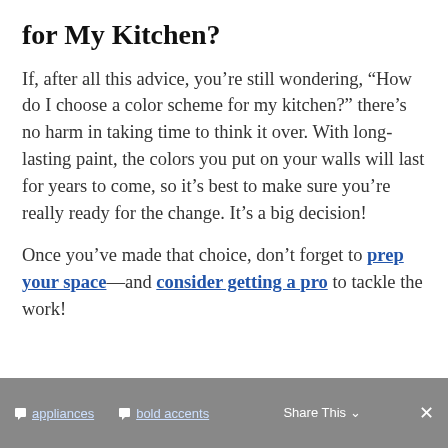for My Kitchen?
If, after all this advice, you're still wondering, “How do I choose a color scheme for my kitchen?” there’s no harm in taking time to think it over. With long-lasting paint, the colors you put on your walls will last for years to come, so it’s best to make sure you’re really ready for the change. It’s a big decision!
Once you’ve made that choice, don’t forget to prep your space—and consider getting a pro to tackle the work!
appliances  bold accents  Share This